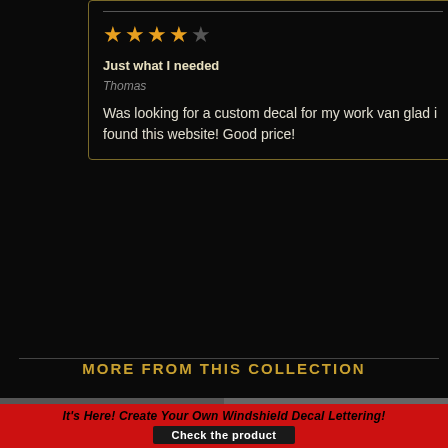[Figure (other): Review card with 4-star rating, title 'Just what I needed', reviewer Thomas, and review text on dark background with gold border]
Just what I needed
Thomas
Was looking for a custom decal for my work van glad i found this website! Good price!
Write your review
MORE FROM THIS COLLECTION
[Figure (photo): Two product images side by side at bottom]
It's Here! Create Your Own Windshield Decal Lettering!
Check the product